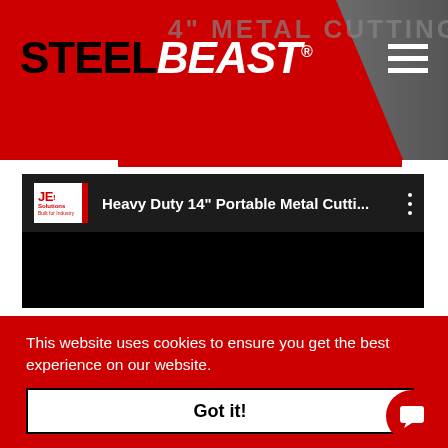[Figure (screenshot): SteelBeast website header with red diagonal background, SteelBeast logo in black and white bold italic text, hamburger menu icon, and partial text '14" METAL CUTTING' in background]
[Figure (screenshot): YouTube video embed with JEI Solutions logo and title 'Heavy Duty 14" Portable Metal Cutti...' on dark background]
This website uses cookies to ensure you get the best experience on our website.
Learn more
Got it!